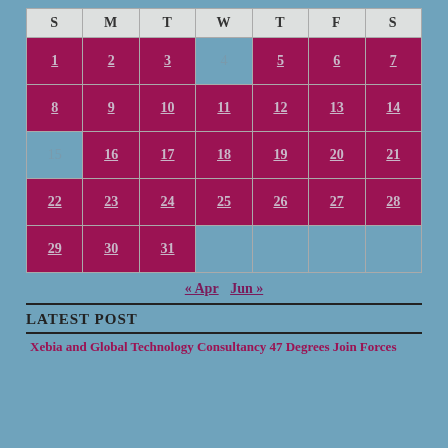| S | M | T | W | T | F | S |
| --- | --- | --- | --- | --- | --- | --- |
| 1 | 2 | 3 | 4 | 5 | 6 | 7 |
| 8 | 9 | 10 | 11 | 12 | 13 | 14 |
| 15 | 16 | 17 | 18 | 19 | 20 | 21 |
| 22 | 23 | 24 | 25 | 26 | 27 | 28 |
| 29 | 30 | 31 |  |  |  |  |
« Apr   Jun »
LATEST POST
Xebia and Global Technology Consultancy 47 Degrees Join Forces